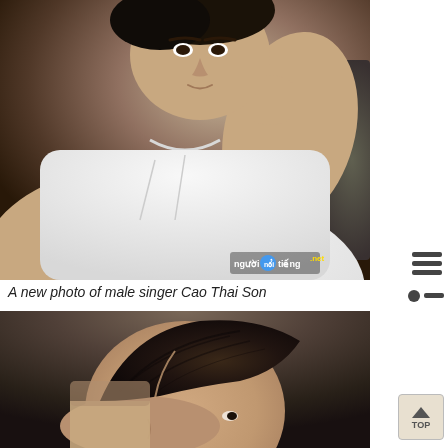[Figure (photo): Photo of male singer Cao Thai Son wearing a white t-shirt, seated, with one hand raised to his chin in a thoughtful pose. Dark blurred background.]
A new photo of male singer Cao Thai Son
[Figure (photo): Profile/side view photo of a man (Cao Thai Son) showing a stylized undercut hairstyle with swept-up dark hair, against a dark brown studio background.]